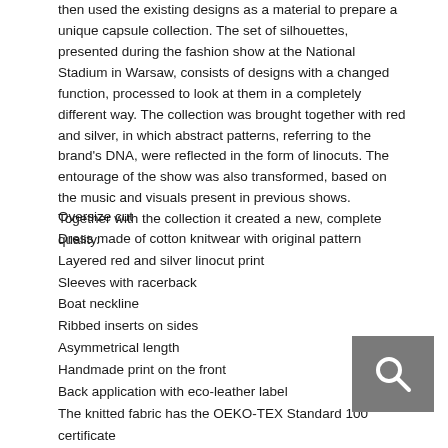then used the existing designs as a material to prepare a unique capsule collection. The set of silhouettes, presented during the fashion show at the National Stadium in Warsaw, consists of designs with a changed function, processed to look at them in a completely different way. The collection was brought together with red and silver, in which abstract patterns, referring to the brand's DNA, were reflected in the form of linocuts. The entourage of the show was also transformed, based on the music and visuals present in previous shows. Together with the collection it created a new, complete quality.
Oversize cut
Dress made of cotton knitwear with original pattern
Layered red and silver linocut print
Sleeves with racerback
Boat neckline
Ribbed inserts on sides
Asymmetrical length
Handmade print on the front
Back application with eco-leather label
The knitted fabric has the OEKO-TEX Standard 100 certificate
Machine wash at 30°C
Unisex
Composition: 100% cotton